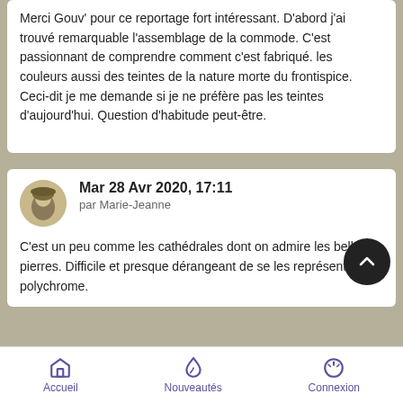Merci Gouv' pour ce reportage fort intéressant. D'abord j'ai trouvé remarquable l'assemblage de la commode. C'est passionnant de comprendre comment c'est fabriqué. les couleurs aussi des teintes de la nature morte du frontispice. Ceci-dit je me demande si je ne préfère pas les teintes d'aujourd'hui. Question d'habitude peut-être.
Mar 28 Avr 2020, 17:11
par Marie-Jeanne
C'est un peu comme les cathédrales dont on admire les belles pierres. Difficile et presque dérangeant de se les représenter polychrome.
Accueil  Nouveautés  Connexion